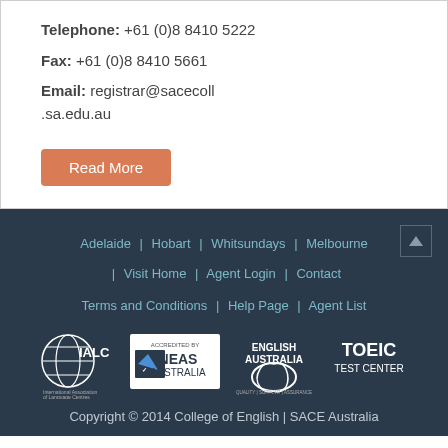Telephone: +61 (0)8 8410 5222
Fax: +61 (0)8 8410 5661
Email: registrar@sacecoll.sa.edu.au
Read More
Adelaide | Hobart | Whitsundays | Melbourne | Visit Home | Agent Login | Contact
Terms and Conditions | Help Page | Agent List
[Figure (logo): IALC, NEAS Australia, English Australia, TOEIC Test Center logos]
Copyright © 2014 College of English | SACE Australia